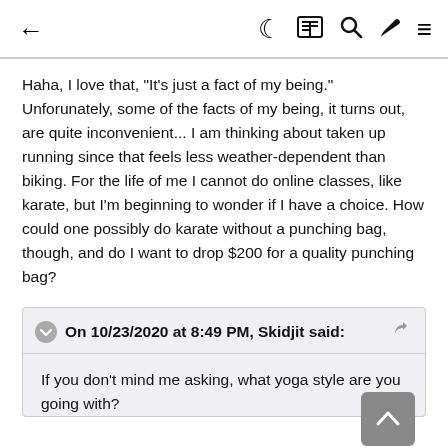← ☾ 📋 🔍 ✏ ≡
Haha, I love that, "It's just a fact of my being." Unforunately, some of the facts of my being, it turns out, are quite inconvenient... I am thinking about taken up running since that feels less weather-dependent than biking. For the life of me I cannot do online classes, like karate, but I'm beginning to wonder if I have a choice. How could one possibly do karate without a punching bag, though, and do I want to drop $200 for a quality punching bag?
On 10/23/2020 at 8:49 PM, Skidjit said:
If you don't mind me asking, what yoga style are you going with?
I'm not sure there are different yoga styles for acroyoga, or if it's all one style. Acroyoga is partner yoga, one on their back on the